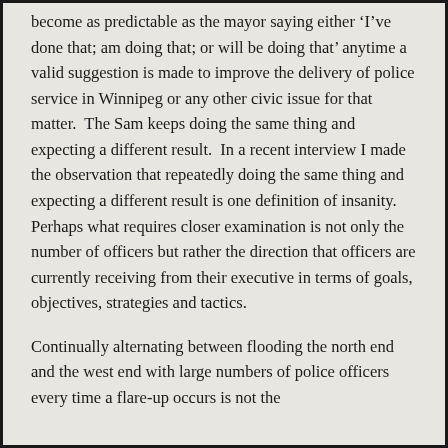become as predictable as the mayor saying either 'I've done that; am doing that; or will be doing that' anytime a valid suggestion is made to improve the delivery of police service in Winnipeg or any other civic issue for that matter.  The Sam keeps doing the same thing and expecting a different result.  In a recent interview I made the observation that repeatedly doing the same thing and expecting a different result is one definition of insanity.  Perhaps what requires closer examination is not only the number of officers but rather the direction that officers are currently receiving from their executive in terms of goals, objectives, strategies and tactics.
Continually alternating between flooding the north end and the west end with large numbers of police officers every time a flare-up occurs is not the